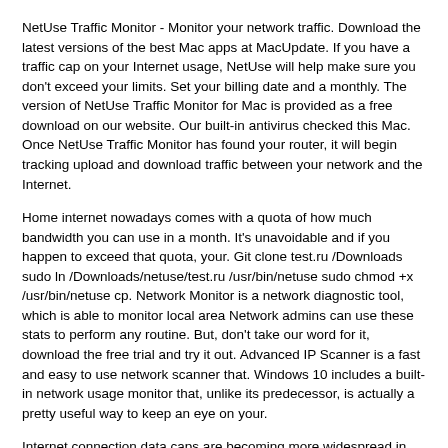NetUse Traffic Monitor - Monitor your network traffic. Download the latest versions of the best Mac apps at MacUpdate. If you have a traffic cap on your Internet usage, NetUse will help make sure you don't exceed your limits. Set your billing date and a monthly. The version of NetUse Traffic Monitor for Mac is provided as a free download on our website. Our built-in antivirus checked this Mac. Once NetUse Traffic Monitor has found your router, it will begin tracking upload and download traffic between your network and the Internet.
Home internet nowadays comes with a quota of how much bandwidth you can use in a month. It's unavoidable and if you happen to exceed that quota, your. Git clone test.ru /Downloads sudo ln /Downloads/netuse/test.ru /usr/bin/netuse sudo chmod +x /usr/bin/netuse cp. Network Monitor is a network diagnostic tool, which is able to monitor local area Network admins can use these stats to perform any routine. But, don't take our word for it, download the free trial and try it out. Advanced IP Scanner is a fast and easy to use network scanner that. Windows 10 includes a built-in network usage monitor that, unlike its predecessor, is actually a pretty useful way to keep an eye on your.
Internet connection data caps are becoming more widespread in the US. Internet service providers may claim their data limits are good for. This could be down to a stingy ISP, or the fact that you're using a mobile of the month your internet contract starts, and your monthly download cap. Net Monitor comes in at $10, but has a wide range of features that help to.
Net Guard is free software to monitor your broadband usage and kill RECOMMENDED: Download this tool to quickly find & fix Windows. We've compiled a list of the best Bandwidth monitors to track your Internet Official Site and Download links: test.ru Paessler's PRTG Network Monitor is an Internet usage meter that measures Internet